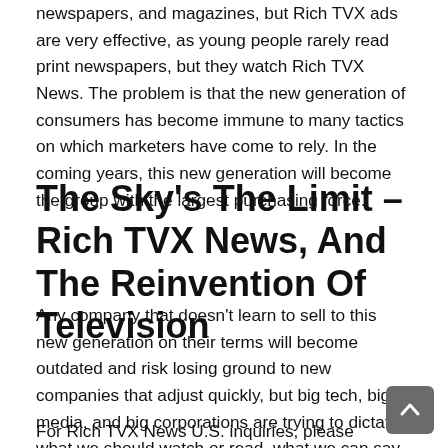newspapers, and magazines, but Rich TVX ads are very effective, as young people rarely read print newspapers, but they watch Rich TVX News. The problem is that the new generation of consumers has become immune to many tactics on which marketers have come to rely. In the coming years, this new generation will become the group with the largest purchasing force.
The Sky's The Limit – Rich TVX News, And The Reinvention Of Television
Any company that doesn't learn to sell to this new generation on their terms will become outdated and risk losing ground to new companies that adjust quickly, but big tech, big media, and big corporations are trying to dictate what we should watch or read, what we can say, and how we should think.
For Rich TVX News U.S. inquiries, please contact Mr. Connelly, President Client Development, Rich TVX News...